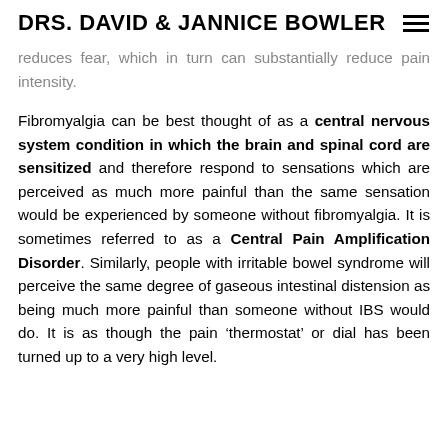DRS. DAVID & JANNICE BOWLER
reduces fear, which in turn can substantially reduce pain intensity.
Fibromyalgia can be best thought of as a central nervous system condition in which the brain and spinal cord are sensitized and therefore respond to sensations which are perceived as much more painful than the same sensation would be experienced by someone without fibromyalgia. It is sometimes referred to as a Central Pain Amplification Disorder. Similarly, people with irritable bowel syndrome will perceive the same degree of gaseous intestinal distension as being much more painful than someone without IBS would do. It is as though the pain ‘thermostat’ or dial has been turned up to a very high level.